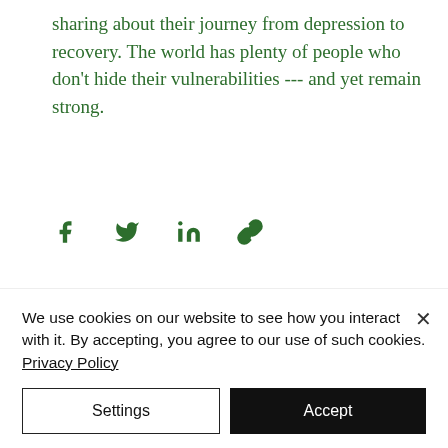sharing about their journey from depression to recovery. The world has plenty of people who don't hide their vulnerabilities --- and yet remain strong.
[Figure (infographic): Social share icons: Facebook (f), Twitter (bird), LinkedIn (in), and link/chain icon, all in dark green]
77 views, 0 comments, 4 likes
We use cookies on our website to see how you interact with it. By accepting, you agree to our use of such cookies. Privacy Policy
Settings | Accept